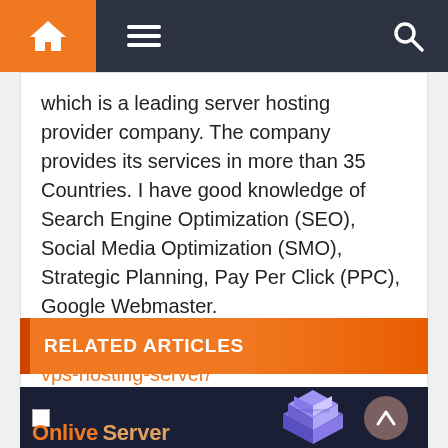[Figure (screenshot): Website navigation bar with orange home icon on left, hamburger menu, dark background, and search icon on right]
which is a leading server hosting provider company. The company provides its services in more than 35 Countries. I have good knowledge of Search Engine Optimization (SEO), Social Media Optimization (SMO), Strategic Planning, Pay Per Click (PPC), Google Webmaster.
https://onliveserver.com/cheap-windows-vps-hosting-server/
RELATED ARTICLES
[Figure (screenshot): Onlive Server website banner with logo text on dark blue background and 3D server icon illustration on right]